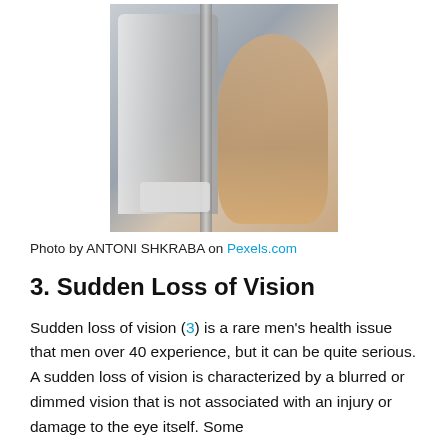[Figure (photo): A man undergoing an eye examination at a slit lamp / ophthalmic equipment in a clinic setting. The patient is positioned with his chin on the chin rest and forehead against the band of the device, facing the equipment.]
Photo by ANTONI SHKRABA on Pexels.com
3. Sudden Loss of Vision
Sudden loss of vision (3) is a rare men's health issue that men over 40 experience, but it can be quite serious. A sudden loss of vision is characterized by a blurred or dimmed vision that is not associated with an injury or damage to the eye itself. Some